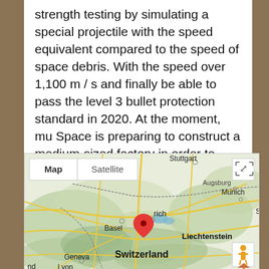strength testing by simulating a special projectile with the speed equivalent compared to the speed of space debris. With the speed over 1,100 m / s and finally be able to pass the level 3 bullet protection standard in 2020. At the moment, mu Space is preparing to construct a medium-sized factory in order to start building spaceships in 2021.
[Figure (map): Google Maps view showing Switzerland and surrounding regions (Stuttgart, Augsburg, Munich, Basel, Zurich, Liechtenstein, Geneva, Lyon). A red map pin marks Zurich, Switzerland. Map and Satellite toggle buttons visible at top left.]